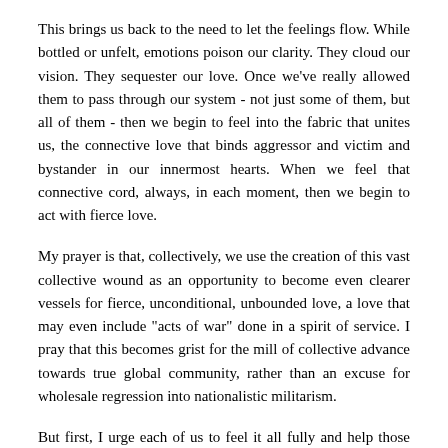This brings us back to the need to let the feelings flow. While bottled or unfelt, emotions poison our clarity. They cloud our vision. They sequester our love. Once we've really allowed them to pass through our system - not just some of them, but all of them - then we begin to feel into the fabric that unites us, the connective love that binds aggressor and victim and bystander in our innermost hearts. When we feel that connective cord, always, in each moment, then we begin to act with fierce love.
My prayer is that, collectively, we use the creation of this vast collective wound as an opportunity to become even clearer vessels for fierce, unconditional, unbounded love, a love that may even include "acts of war" done in a spirit of service. I pray that this becomes grist for the mill of collective advance towards true global community, rather than an excuse for wholesale regression into nationalistic militarism.
But first, I urge each of us to feel it all fully and help those around us to do the same, and thus ensure that in our small corner of the world, the collective wound begins to heal, and that we begin to access the deeper wisdom and clarity at our core.
Love, Stephen
Loss of Innocence - Dharam Singh